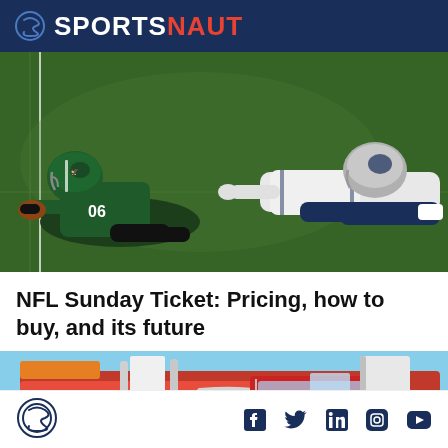SPORTSNAUT
[Figure (photo): Two NFL football players lying on a green field turf, one wearing a green Philadelphia Eagles helmet and dark green jersey (#06), the other in a white New England Patriots uniform.]
NFL Sunday Ticket: Pricing, how to buy, and its future
[Figure (photo): Close-up of a red fire truck or vintage red vehicle with chrome/silver details, white panels, and orange elements.]
SportsNaut logo and social media icons: Facebook, Twitter, LinkedIn, Instagram, YouTube